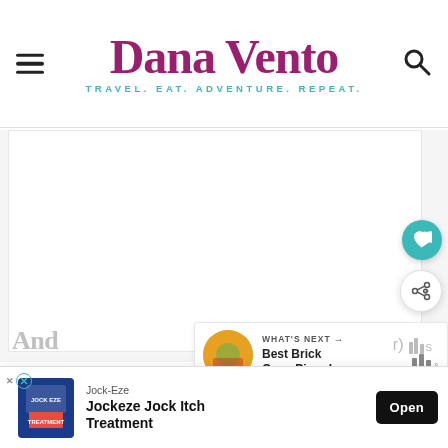Dana Vento — TRAVEL. EAT. ADVENTURE. REPEAT.
[Figure (screenshot): Main content area of Dana Vento travel blog, showing a large white content card area with heart (like) and share buttons on the right side, a 'What's Next' recommendation widget showing 'Best Brick Oven Pizza I...', and follow.it strip below]
[Figure (screenshot): Advertisement banner for Jock-Eze Jockeze Jock Itch Treatment with Open button, shown at bottom of page]
And
r) s